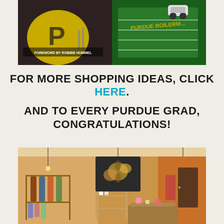[Figure (photo): Photo of Purdue merchandise including a football helmet and a Purdue Boilermakers book/display with a small toy car on a green football-field-style surface. Text on book: 'FOREWORD BY ROBBIE HUMMEL' and 'PURDUE BOILERM...']
FOR MORE SHOPPING IDEAS, CLICK HERE. AND TO EVERY PURDUE GRAD, CONGRATULATIONS!
[Figure (photo): Interior photo of a boutique retail store showing clothing racks on the left, shelving units in the middle with merchandise, decorative floral wall art in the center background, and an orange accent wall on the right. Pendant Edison bulb lights hang from the ceiling.]